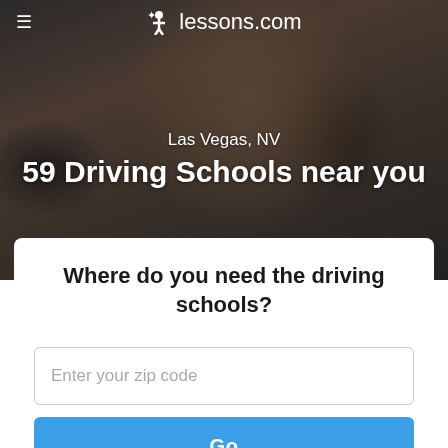[Figure (screenshot): Hero background photo of a young woman with dark hair, viewed from inside a car. Dark, muted tones.]
≡  ✦ lessons.com
Las Vegas, NV
59 Driving Schools near you
Where do you need the driving schools?
Enter your zip code
Go